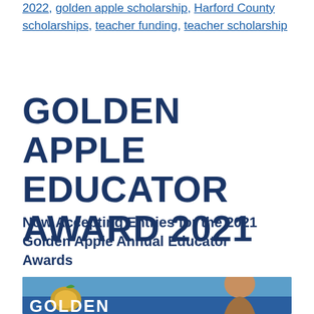2022, golden apple scholarship, Harford County scholarships, teacher funding, teacher scholarship
GOLDEN APPLE EDUCATOR AWARD 2021
Now Accepting Entries for the 2021 Golden Apple Annual Educator Awards
[Figure (photo): Photo showing a person smiling in front of a Golden Apple sign/banner, partially cropped at the bottom of the page]